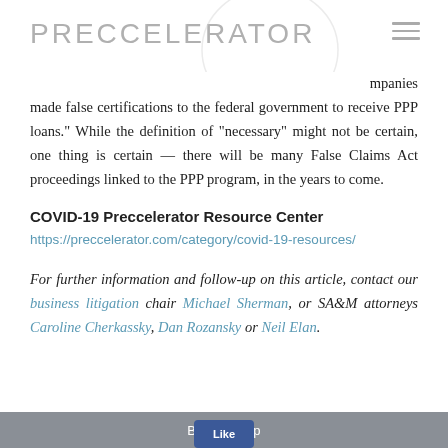PRECCELERATOR
mpanies made false certifications to the federal government to receive PPP loans.” While the definition of “necessary” might not be certain, one thing is certain — there will be many False Claims Act proceedings linked to the PPP program, in the years to come.
COVID-19 Preccelerator Resource Center
https://preccelerator.com/category/covid-19-resources/
For further information and follow-up on this article, contact our business litigation chair Michael Sherman, or SA&M attorneys Caroline Cherkassky, Dan Rozansky or Neil Elan.
Back To Top